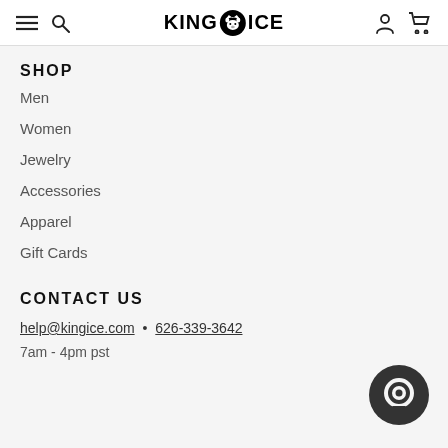KING ICE navigation header
SHOP
Men
Women
Jewelry
Accessories
Apparel
Gift Cards
CONTACT US
help@kingice.com  •  626-339-3642
7am - 4pm pst